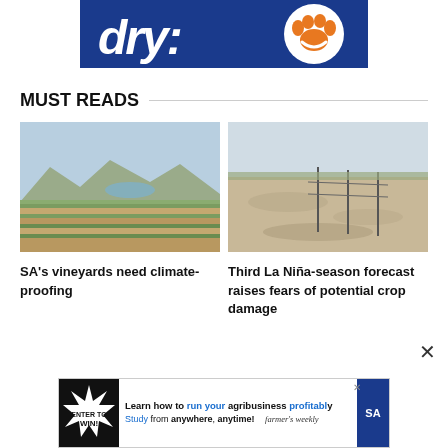[Figure (illustration): Top banner with dark blue background showing partial text 'dry:' in white bold italic and an orange paw print icon on white circular background]
MUST READS
[Figure (photo): Vineyard rows with green vines in foreground, blue sky and mountains in background, arid landscape]
SA's vineyards need climate-proofing
[Figure (photo): Flooded flat agricultural land, muddy water covering dry soil, fence posts visible, overcast sky]
Third La Niña-season forecast raises fears of potential crop damage
[Figure (illustration): Advertisement banner: Learn how to run your agribusiness profitably. Study from anywhere, anytime! Farmer's Weekly SA logo.]